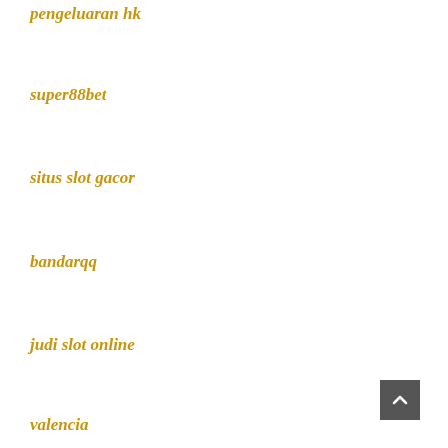pengeluaran hk
super88bet
situs slot gacor
bandarqq
judi slot online
valencia